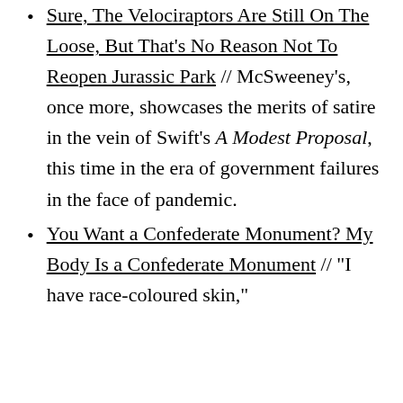Sure, The Velociraptors Are Still On The Loose, But That's No Reason Not To Reopen Jurassic Park // McSweeney's, once more, showcases the merits of satire in the vein of Swift's A Modest Proposal, this time in the era of government failures in the face of pandemic.
You Want a Confederate Monument? My Body Is a Confederate Monument // "I have race-coloured skin,"